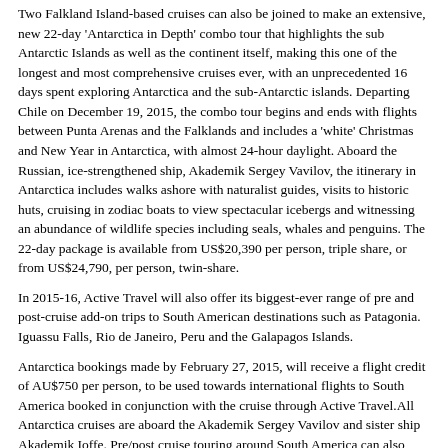Two Falkland Island-based cruises can also be joined to make an extensive, new 22-day 'Antarctica in Depth' combo tour that highlights the sub Antarctic Islands as well as the continent itself, making this one of the longest and most comprehensive cruises ever, with an unprecedented 16 days spent exploring Antarctica and the sub-Antarctic islands. Departing Chile on December 19, 2015, the combo tour begins and ends with flights between Punta Arenas and the Falklands and includes a 'white' Christmas and New Year in Antarctica, with almost 24-hour daylight. Aboard the Russian, ice-strengthened ship, Akademik Sergey Vavilov, the itinerary in Antarctica includes walks ashore with naturalist guides, visits to historic huts, cruising in zodiac boats to view spectacular icebergs and witnessing an abundance of wildlife species including seals, whales and penguins. The 22-day package is available from US$20,390 per person, triple share, or from US$24,790, per person, twin-share.
In 2015-16, Active Travel will also offer its biggest-ever range of pre and post-cruise add-on trips to South American destinations such as Patagonia. Iguassu Falls, Rio de Janeiro, Peru and the Galapagos Islands.
Antarctica bookings made by February 27, 2015, will receive a flight credit of AU$750 per person, to be used towards international flights to South America booked in conjunction with the cruise through Active Travel.All Antarctica cruises are aboard the Akademik Sergey Vavilov and sister ship Akademik Ioffe. Pre/post cruise touring around South America can also booked through Active Travel.
For details of the Antarctica packages, visit www.activetravel.com.au or call 1200 782 188